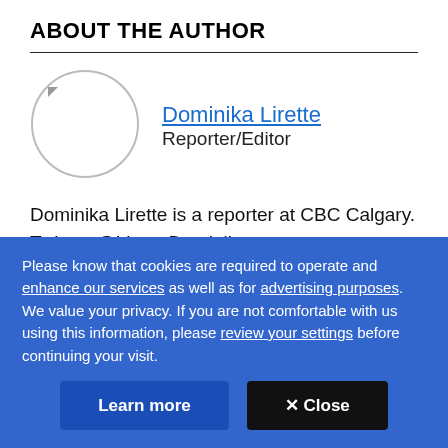ABOUT THE AUTHOR
[Figure (illustration): Circular placeholder avatar image for author Dominika Lirette]
Dominika Lirette
Reporter/Editor
Dominika Lirette is a reporter at CBC Calgary. Twitter: @LiretteDominika
With files from Gordon P...
Please know that cookies are required to operate and enhance our services as well as for advertising purposes. We value your privacy. If you are not comfortable with us using this information, please review your settings before continuing your visit.